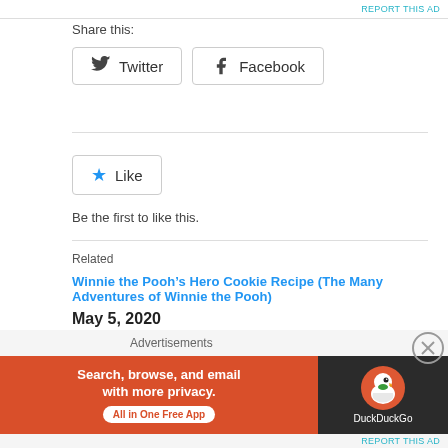REPORT THIS AD
Share this:
Twitter   Facebook
Like
Be the first to like this.
Related
Winnie the Pooh’s Hero Cookie Recipe (The Many Adventures of Winnie the Pooh)
May 5, 2020
In "DISNEY"
Disney Animated Movie List
July 7, 2016
In "DISNEY"
Advertisements
[Figure (other): DuckDuckGo advertisement banner: orange background with text 'Search, browse, and email with more privacy. All in One Free App' and DuckDuckGo duck logo on dark background]